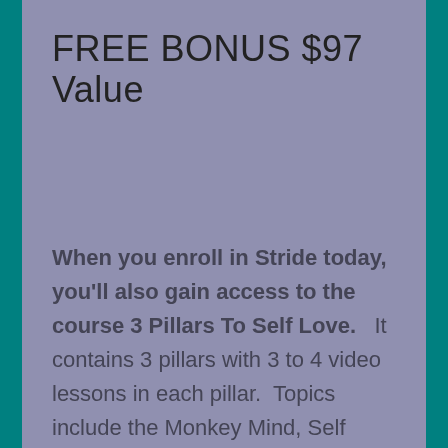FREE BONUS $97 Value
When you enroll in Stride today, you'll also gain access to the course 3 Pillars To Self Love. It contains 3 pillars with 3 to 4 video lessons in each pillar. Topics include the Monkey Mind, Self Belief, Perfectionism, Your Temple, The Gift, Listening To Your Body, Infinite Energy, Sharing Your Gifts, and Maintaining Boundaries.